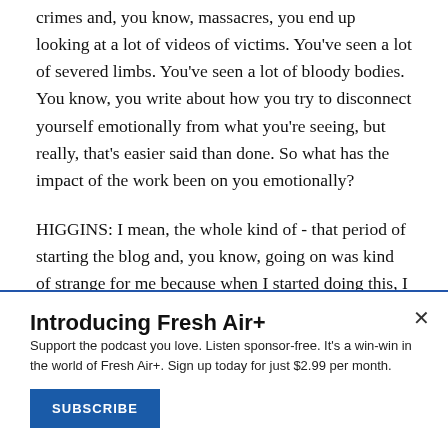crimes and, you know, massacres, you end up looking at a lot of videos of victims. You've seen a lot of severed limbs. You've seen a lot of bloody bodies. You know, you write about how you try to disconnect yourself emotionally from what you're seeing, but really, that's easier said than done. So what has the impact of the work been on you emotionally?
HIGGINS: I mean, the whole kind of - that period of starting the blog and, you know, going on was kind of strange for me because when I started doing this, I was someone who was,
Introducing Fresh Air+
Support the podcast you love. Listen sponsor-free. It's a win-win in the world of Fresh Air+. Sign up today for just $2.99 per month.
SUBSCRIBE